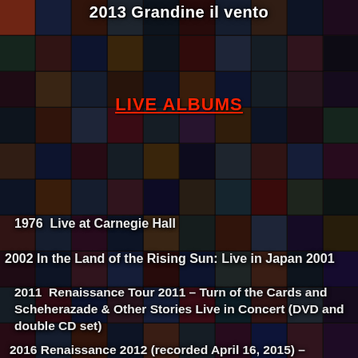2013 Grandine il vento
LIVE ALBUMS
1976  Live at Carnegie Hall
2002 In the Land of the Rising Sun: Live in Japan 2001
2011  Renaissance Tour 2011 – Turn of the Cards and Scheherazade & Other Stories Live in Concert (DVD and double CD set)
2016 Renaissance 2012 (recorded April 16, 2015) –